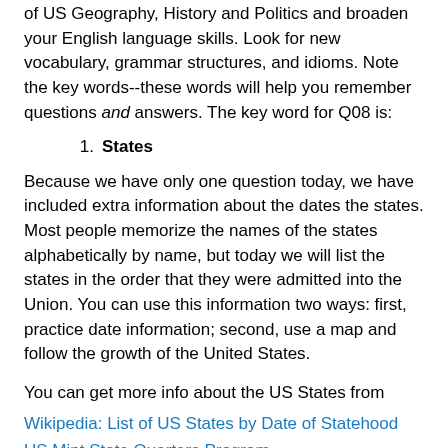of US Geography, History and Politics and broaden your English language skills. Look for new vocabulary, grammar structures, and idioms. Note the key words--these words will help you remember questions and answers. The key word for Q08 is:
States
Because we have only one question today, we have included extra information about the dates the states. Most people memorize the names of the states alphabetically by name, but today we will list the states in the order that they were admitted into the Union. You can use this information two ways: first, practice date information; second, use a map and follow the growth of the United States.
You can get more info about the US States from
Wikipedia: List of US States by Date of Statehood
US Mint State Quarters Program
50states.com
On this Memorial Day Weekend, we would like to remember